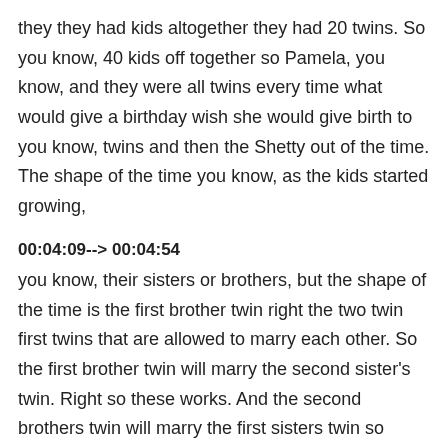they they had kids altogether they had 20 twins. So you know, 40 kids off together so Pamela, you know, and they were all twins every time what would give a birthday wish she would give birth to you know, twins and then the Shetty out of the time. The shape of the time you know, as the kids started growing,
00:04:09--> 00:04:54
you know, their sisters or brothers, but the shape of the time is the first brother twin right the two twin first twins that are allowed to marry each other. So the first brother twin will marry the second sister's twin. Right so these works. And the second brothers twin will marry the first sisters twin so that's how we were so copied who was the elder twin right and had been who was the younger? So carbene married habeus sister and have been married COVID sister COVID